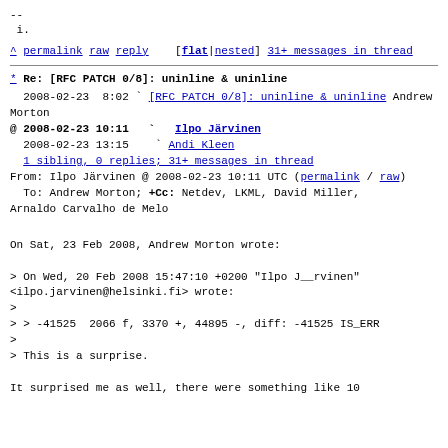--
 i.
^ permalink raw reply    [flat|nested] 31+ messages in thread
* Re: [RFC PATCH 0/8]: uninline & uninline
2008-02-23  8:02 ` [RFC PATCH 0/8]: uninline & uninline Andrew Morton
@ 2008-02-23 10:11   ` Ilpo Järvinen
  2008-02-23 13:15     ` Andi Kleen
  1 sibling, 0 replies; 31+ messages in thread
From: Ilpo Järvinen @ 2008-02-23 10:11 UTC (permalink / raw)
To: Andrew Morton; +Cc: Netdev, LKML, David Miller, Arnaldo Carvalho de Melo
On Sat, 23 Feb 2008, Andrew Morton wrote:

> On Wed, 20 Feb 2008 15:47:10 +0200 "Ilpo J__rvinen"
<ilpo.jarvinen@helsinki.fi> wrote:
>
> > -41525  2066 f, 3370 +, 44895 -, diff: -41525 IS_ERR
>
> This is a surprise.

It surprised me as well, there were something like 10